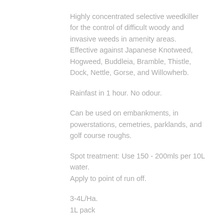Highly concentrated selective weedkiller for the control of difficult woody and invasive weeds in amenity areas. Effective against Japanese Knotweed, Hogweed, Buddleia, Bramble, Thistle, Dock, Nettle, Gorse, and Willowherb.
Rainfast in 1 hour. No odour.
Can be used on embankments, in powerstations, cemetries, parklands, and golf course roughs.
Spot treatment: Use 150 - 200mls per 10L water.
Apply to point of run off.
3-4L/Ha.
1L pack